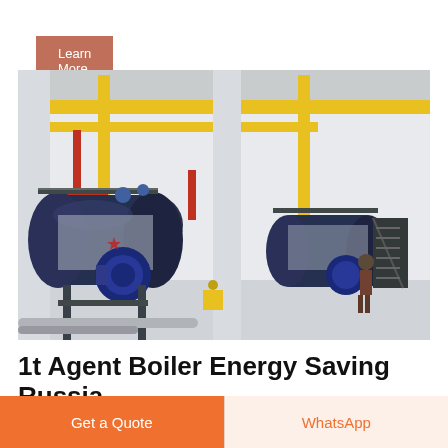Learn More
[Figure (photo): Industrial boiler room with two large dark blue horizontal cylindrical boilers, yellow gas pipes, red pipes, metal staircases, and a person standing near the equipment in a warehouse-style facility.]
1t Agent Boiler Energy Saving Russia
Dealer 1 Ton Coal Boiler Commercial Russia Hot Water
Get a Quote
WhatsApp